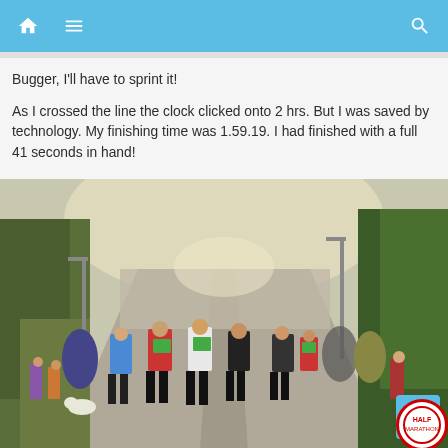Navigation bar with home, menu, and search icons
Bugger, I'll have to sprint it!
As I crossed the line the clock clicked onto 2 hrs. But I was saved by technology. My finishing time was 1.59.19. I had finished with a full 41 seconds in hand!
[Figure (photo): A large group of runners competing in a half marathon race on a tree-lined road, with spectators on the sides and more runners visible in the background stretching far into the distance.]